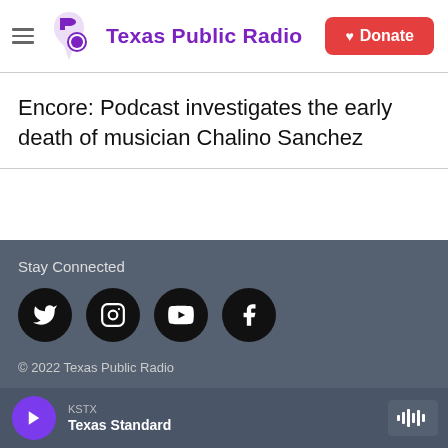Texas Public Radio | Donate
Encore: Podcast investigates the early death of musician Chalino Sanchez
[Figure (other): Social media icons: Twitter, Instagram, YouTube, Facebook]
Stay Connected
© 2022 Texas Public Radio
KSTX Texas Standard